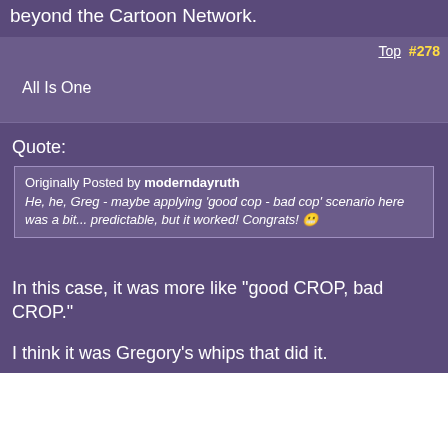beyond the Cartoon Network.
Top  #278
All Is One
Quote:
Originally Posted by moderndayruth
He, he, Greg - maybe applying 'good cop - bad cop' scenario here was a bit... predictable, but it worked! Congrats! 😁
In this case, it was more like "good CROP, bad CROP."
I think it was Gregory's whips that did it.